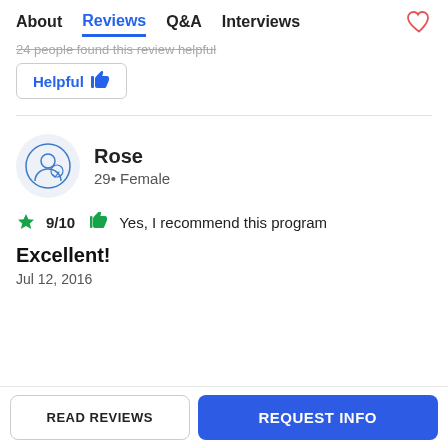About  Reviews  Q&A  Interviews
24 people found this review helpful
Helpful 👍
Rose
29• Female
9/10  Yes, I recommend this program
Excellent!
Jul 12, 2016
READ REVIEWS  REQUEST INFO